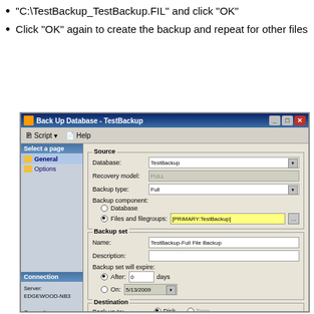"C:\TestBackup_TestBackup.FIL" and click "OK"
Click "OK" again to create the backup and repeat for other files
[Figure (screenshot): SQL Server Management Studio 'Back Up Database - TestBackup' dialog window showing backup configuration with source database TestBackup, backup type Full, Files and Filegroups selected with [PRIMARY:TestBackup], backup set name TestBackup-Full File Backup, destination C:\TestBackup_TestBackup.FIL, with Add/Remove/Contents buttons and Scripting completed successfully progress message.]